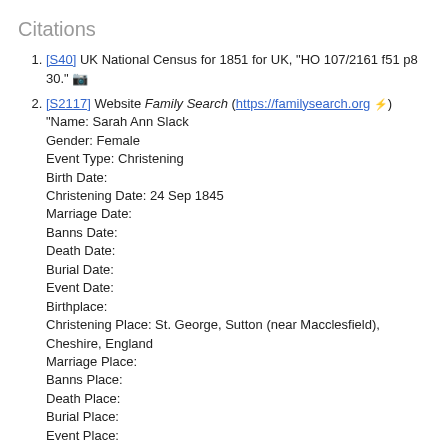Citations
[S40] UK National Census for 1851 for UK, "HO 107/2161 f51 p8 30." 📷
[S2117] Website Family Search (https://familysearch.org) "Name: Sarah Ann Slack Gender: Female Event Type: Christening Birth Date: Christening Date: 24 Sep 1845 Marriage Date: Banns Date: Death Date: Burial Date: Event Date: Birthplace: Christening Place: St. George, Sutton (near Macclesfield), Cheshire, England Marriage Place: Banns Place: Death Place: Burial Place: Event Place: Father's Name: George Slack Mother's Name: Mary Principal's Marital Status: Principal's Residence: St. George, Sutton (near Macclesfield), Cheshire, England